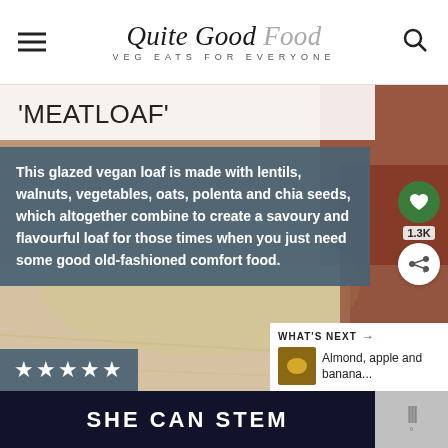Quite Good Food — VEG EATS FOR EVERYONE
'MEATLOAF'
This glazed vegan loaf is made with lentils, walnuts, vegetables, oats, polenta and chia seeds, which altogether combine to create a savoury and flavourful loaf for those times when you just need some good old-fashioned comfort food.
★★★★★
WHAT'S NEXT → Almond, apple and banana...
[Figure (screenshot): Ad banner reading SHE CAN STEM in bold white text on dark background]